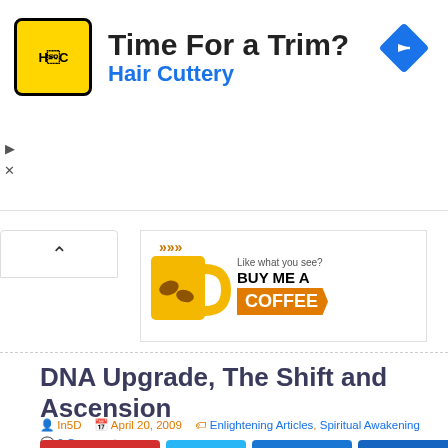[Figure (advertisement): Hair Cuttery advertisement banner with yellow logo showing HC text, title 'Time For a Trim?' and subtitle 'Hair Cuttery' in blue, blue diamond arrow icon on right]
[Figure (advertisement): Buy Me A Coffee banner with yellow coffee mug illustration, text 'Like what you see? BUY ME A COFFEE' with orange arrow]
DNA Upgrade, The Shift and Ascension
In5D  April 20, 2009  Enlightening Articles, Spiritual Awakening  0 Comments
A 17  N  k  s  G 17 SHARES